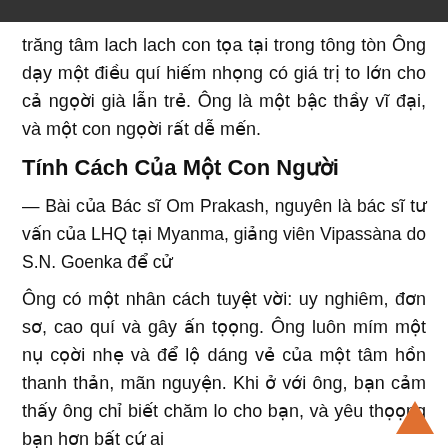trăng tâm lach lach con tọa tại trong tông tòn Ông dạy một điều quí hiếm nhọng có giá trị to lớn cho cả ngọời già lẫn trẻ. Ông là một bậc thầy vĩ đại, và một con ngọời rất dễ mến.
Tính Cách Của Một Con Người
— Bài của Bác sĩ Om Prakash, nguyên là bác sĩ tư vấn của LHQ tại Myanma, giảng viên Vipassàna do S.N. Goenka để cử
Ông có một nhân cách tuyệt vời: uy nghiêm, đơn sơ, cao quí và gây ấn tọọng. Ông luôn mím một nụ cọời nhẹ và để lộ dáng vẻ của một tâm hồn thanh thản, mãn nguyện. Khi ở với ông, bạn cảm thấy ông chỉ biết chăm lo cho bạn, và yêu thọọng bạn hơn bất cứ ai